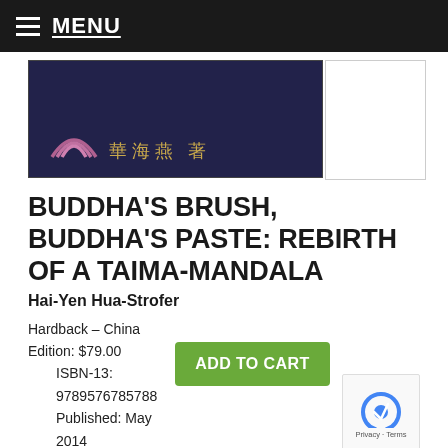MENU
[Figure (photo): Book cover showing a dark navy blue background with rainbow/arch logo and Chinese characters (華海燕 著) in gold, with a white panel to the right]
BUDDHA'S BRUSH, BUDDHA'S PASTE: REBIRTH OF A TAIMA-MANDALA
Hai-Yen Hua-Strofer
Hardback – China Edition: $79.00
    ISBN-13: 9789576785788
    Published: May 2014